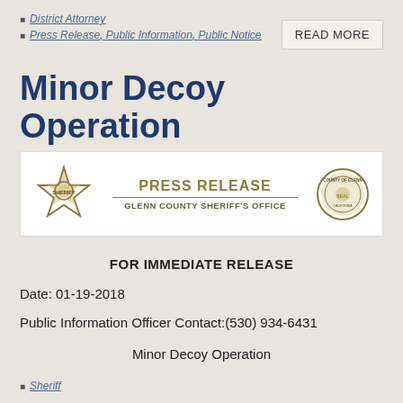District Attorney
Press Release, Public Information, Public Notice
READ MORE
Minor Decoy Operation
[Figure (illustration): Glenn County Sheriff's Office Press Release banner header with a star badge on the left, 'PRESS RELEASE' and 'GLENN COUNTY SHERIFF'S OFFICE' text in center, and a county seal on the right.]
FOR IMMEDIATE RELEASE
Date: 01-19-2018
Public Information Officer Contact:(530) 934-6431
Minor Decoy Operation
Sheriff